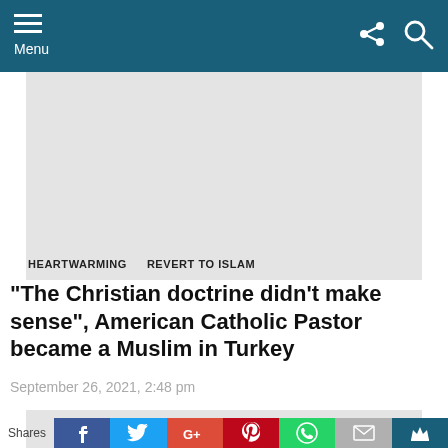Menu
[Figure (photo): Article hero image placeholder (light gray rectangle)]
HEARTWARMING   REVERT TO ISLAM
“The Christian doctrine didn’t make sense”, American Catholic Pastor became a Muslim in Turkey
September 26, 2021, 2:48 pm
Shares